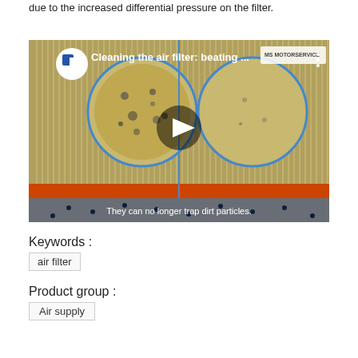due to the increased differential pressure on the filter.
[Figure (screenshot): Video thumbnail showing 'Cleaning the air filter: beating ...' with MS Motorservice branding. Shows cross-section of an air filter with two circular insets showing dirty filter material. A play button is centered. Subtitle reads: 'They can no longer trap dirt particles.']
Keywords :
air filter
Product group :
Air supply